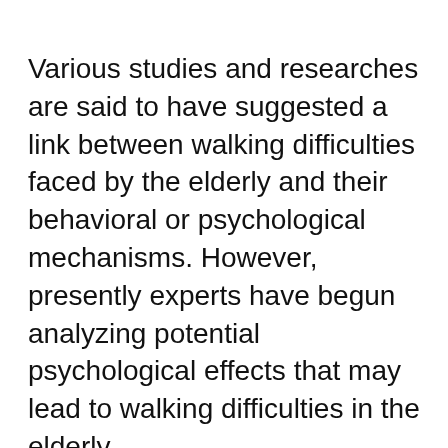Various studies and researches are said to have suggested a link between walking difficulties faced by the elderly and their behavioral or psychological mechanisms. However, presently experts have begun analyzing potential psychological effects that may lead to walking difficulties in the elderly.
Earlier, it was believed that concern over one’s health could possibly motivate people to indulge in regular physical activities; however the present research reflects the possibility of the